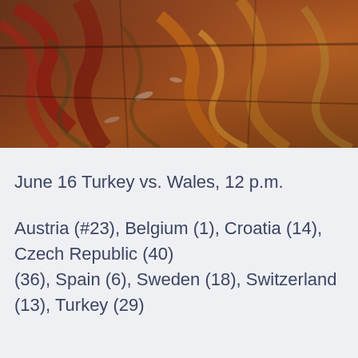[Figure (photo): A close-up photograph of a colorful, paint-covered surface with streaks of red, brown, orange, yellow, and green paint mixed together on what appears to be a palette or floor.]
June 16 Turkey vs. Wales, 12 p.m.
Austria (#23), Belgium (1), Croatia (14), Czech Republic (40), (36), Spain (6), Sweden (18), Switzerland (13), Turkey (29)